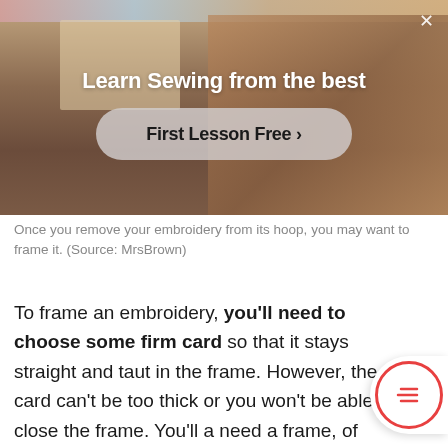[Figure (screenshot): Advertisement banner showing a person sewing with text 'Learn Sewing from the best' and a 'First Lesson Free >' call-to-action button. A close (X) button is in the top right corner.]
Once you remove your embroidery from its hoop, you may want to frame it. (Source: MrsBrown)
To frame an embroidery, you'll need to choose some firm card so that it stays straight and taut in the frame. However, the card can't be too thick or you won't be able to close the frame. You'll a need a frame, of course. You can buy a frame shop or even make one yourself with some wood